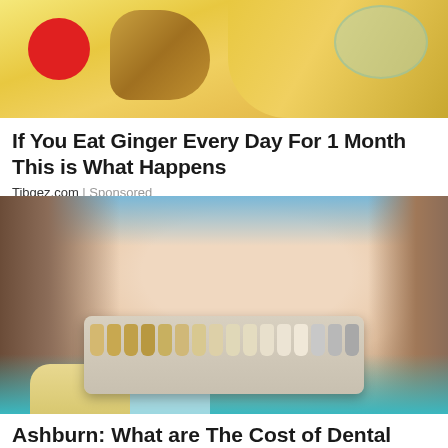[Figure (photo): Photo of ginger root and yellow foods on a white surface, with a red circle overlay on the left side]
If You Eat Ginger Every Day For 1 Month This is What Happens
Tibgez.com | Sponsored
[Figure (photo): Smiling young woman at a dental clinic holding a tooth shade guide/dental implant color chart]
Ashburn: What are The Cost of Dental Implants?